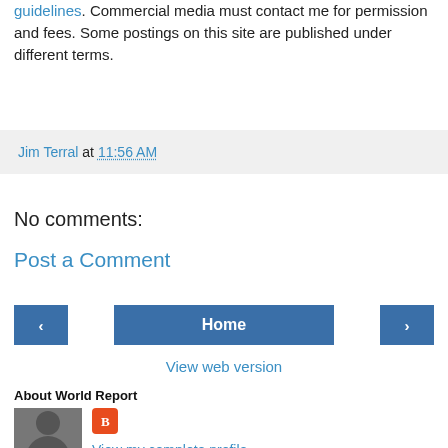guidelines. Commercial media must contact me for permission and fees. Some postings on this site are published under different terms.
Jim Terral at 11:56 AM
No comments:
Post a Comment
Home
View web version
About World Report
View my complete profile